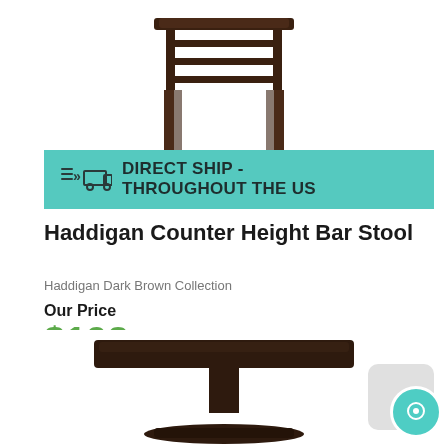[Figure (photo): Dark brown wooden counter height bar stool with cross-back design and footrest, viewed from front, on white background]
DIRECT SHIP - THROUGHOUT THE US
Haddigan Counter Height Bar Stool
Haddigan Dark Brown Collection
Our Price
$198
See Details
[Figure (photo): Dark brown square dining table top with pedestal base, partially visible at bottom of page]